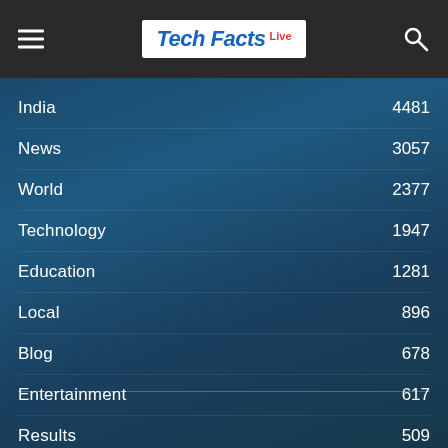Tech Facts Live
India 4481
News 3057
World 2377
Technology 1947
Education 1281
Local 896
Blog 678
Entertainment 617
Results 509